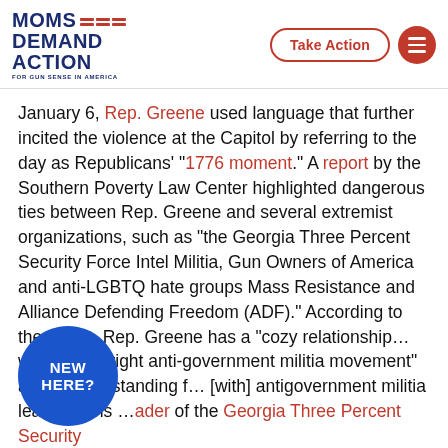Moms Demand Action FOR GUN SENSE IN AMERICA | Take Action
January 6, Rep. Greene used language that further incited the violence at the Capitol by referring to the day as Republicans' “1776 moment.” A report by the Southern Poverty Law Center highlighted dangerous ties between Rep. Greene and several extremist organizations, such as “the Georgia Three Percent Security Force Intel Militia, Gun Owners of America and anti-LGBTQ hate groups Mass Resistance and Alliance Defending Freedom (ADF).” According to the report, Rep. Greene has a “cozy relationship… with the far-right anti-government militia movement” and a “long-standing f… [with] antigovernment militia leader Chris …ader of the Georgia Three Percent Security
[Figure (logo): NEW HERE? blue circle button]